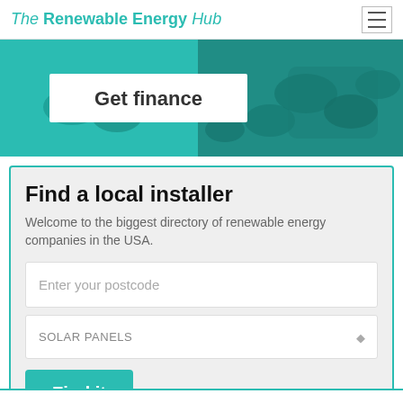The Renewable Energy Hub
[Figure (photo): Banner image showing coins with teal color overlay and a 'Get finance' label on white background]
Find a local installer
Welcome to the biggest directory of renewable energy companies in the USA.
Enter your postcode
SOLAR PANELS
Find it